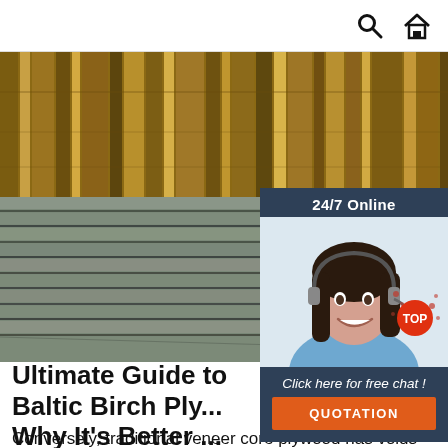Search and Home navigation icons
[Figure (photo): Stacked sheets of Baltic birch plywood showing wood grain and layered edges, with wood flooring pattern visible on top]
[Figure (photo): 24/7 Online chat widget showing a smiling woman with headset, with 'Click here for free chat!' link and orange QUOTATION button]
[Figure (other): Red TOP scroll-to-top button with decorative splatter]
Ultimate Guide to Baltic Birch Ply... Why It's Better ...
Conversely, traditional veneer core plywood has voids and is also made up of softer materials so screws don't get a chance to clench the best they can. You also might find sheets made with MDF (medium-density fiberboard) core, and though it's 100% solid, MDF is soft and just doesn't have the